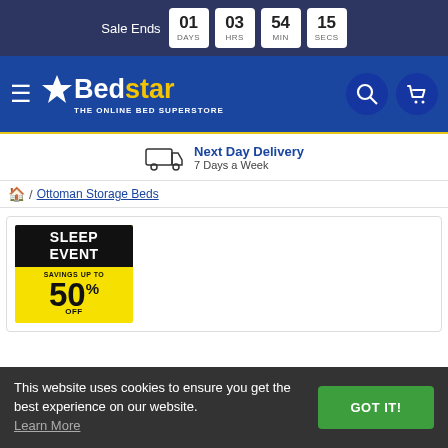Sale Ends 01 DAYS 03 HRS 54 MIN 15 SECS
[Figure (logo): Bedstar logo - star icon, 'Bed' in white bold, 'star' in yellow bold, tagline 'THE ONLINE BED SUPERSTORE']
Next Day Delivery
7 Days a Week
/ Ottoman Storage Beds
[Figure (infographic): Sleep Event banner: black top with 'SLEEP EVENT' in white, yellow background with 'SAVINGS UP TO' and '50% OFF' in black]
This website uses cookies to ensure you get the best experience on our website. Learn More